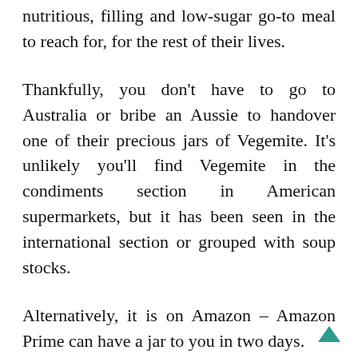nutritious, filling and low-sugar go-to meal to reach for, for the rest of their lives.
Thankfully, you don't have to go to Australia or bribe an Aussie to handover one of their precious jars of Vegemite. It's unlikely you'll find Vegemite in the condiments section in American supermarkets, but it has been seen in the international section or grouped with soup stocks.
Alternatively, it is on Amazon – Amazon Prime can have a jar to you in two days.